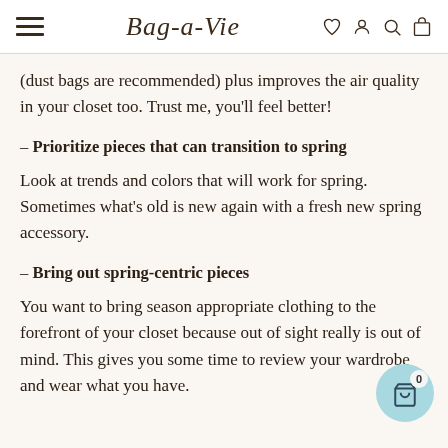Bag-a-Vie
(dust bags are recommended) plus improves the air quality in your closet too. Trust me, you'll feel better!
– Prioritize pieces that can transition to spring
Look at trends and colors that will work for spring. Sometimes what's old is new again with a fresh new spring accessory.
– Bring out spring-centric pieces
You want to bring season appropriate clothing to the forefront of your closet because out of sight really is out of mind. This gives you some time to review your wardrobe and wear what you have.